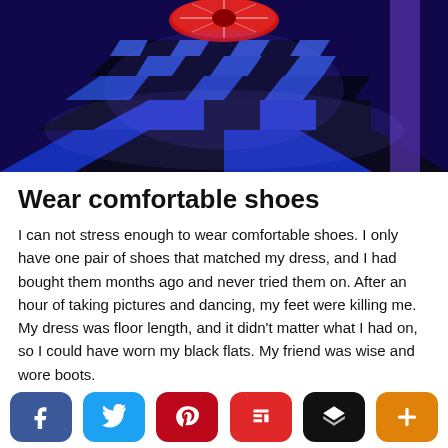[Figure (photo): Checkered black and blue dance floor with dramatic lighting and a roulette-style wheel in the background]
Wear comfortable shoes
I can not stress enough to wear comfortable shoes. I only have one pair of shoes that matched my dress, and I had bought them months ago and never tried them on. After an hour of taking pictures and dancing, my feet were killing me. My dress was floor length, and it didn't matter what I had on, so I could have worn my black flats. My friend was wise and wore boots.
[Figure (other): Social sharing buttons bar: Facebook, Twitter, Pinterest, Flipboard, Layers, Plus]